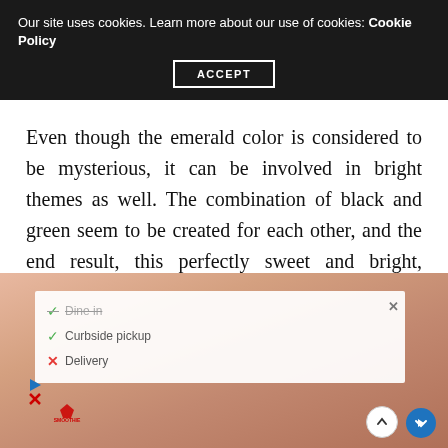Our site uses cookies. Learn more about our use of cookies: Cookie Policy
ACCEPT
Even though the emerald color is considered to be mysterious, it can be involved in bright themes as well. The combination of black and green seem to be created for each other, and the end result, this perfectly sweet and bright, summer nail art is just too cute to get past it.
[Figure (photo): Close-up photo of a hand with nails, overlaid with a mobile UI panel showing Dine in, Curbside pickup (checked), Delivery (crossed), Smoothie King logo, navigation arrow icon, and scroll-up button.]